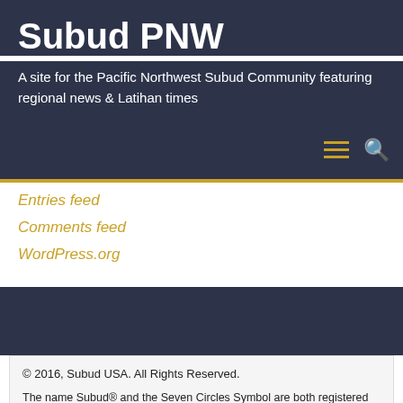Subud PNW
A site for the Pacific Northwest Subud Community featuring regional news & Latihan times
Entries feed
Comments feed
WordPress.org
© 2016, Subud USA. All Rights Reserved.

The name Subud® and the Seven Circles Symbol are both registered marks of the World Subud Association

Subud USA affirms its members' rights to participate in, benefit from, and contribute to all activities, programs, and services of the association with dignity and respect, free